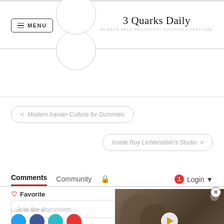3 Quarks Daily — SCIENCE ARTS PHILOSOPHY POLITICS LITERATURE
< Modern Iranian Culture for Dummies
Inside Roy Lichtenstein's Studio >
Comments  Community  Login
♡ Favorite
Join the discussion…
LOG IN WITH
[Figure (screenshot): Video player overlay showing an animal (otter or similar) with a play button]